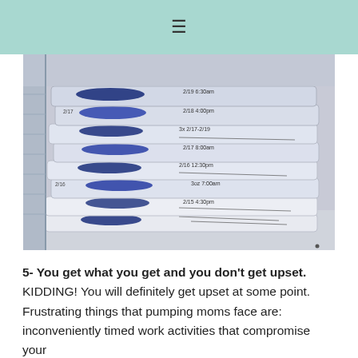≡
[Figure (photo): Stack of frozen breast milk bags labeled with Horizon brand, stored flat in a freezer shelf, showing multiple bags stacked on top of each other with handwritten dates and amounts.]
5- You get what you get and you don't get upset. KIDDING! You will definitely get upset at some point. Frustrating things that pumping moms face are: inconveniently timed work activities that compromise your